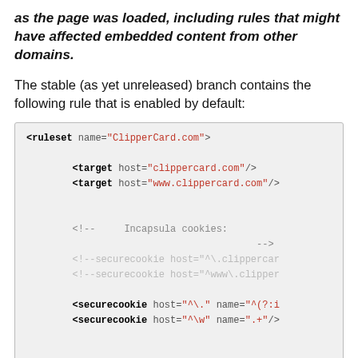as the page was loaded, including rules that might have affected embedded content from other domains.
The stable (as yet unreleased) branch contains the following rule that is enabled by default:
[Figure (screenshot): Code block showing XML ruleset for ClipperCard.com with target, securecookie, and rule elements in a monospace font on a light gray background]